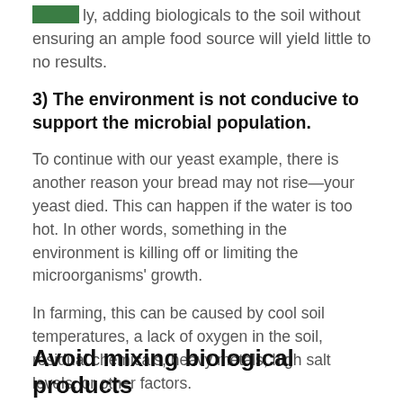ly, adding biologicals to the soil without ensuring an ample food source will yield little to no results.
3) The environment is not conducive to support the microbial population.
To continue with our yeast example, there is another reason your bread may not rise—your yeast died. This can happen if the water is too hot. In other words, something in the environment is killing off or limiting the microorganisms' growth.
In farming, this can be caused by cool soil temperatures, a lack of oxygen in the soil, residual chemicals, heavy metals, high salt levels, or other factors.
Avoid mixing biological products